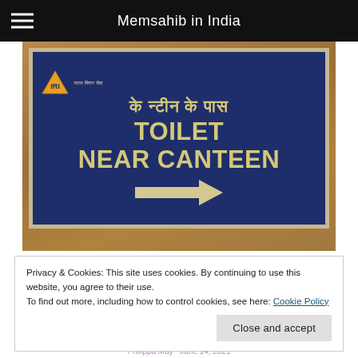Memsahib in India
[Figure (photo): A photo of a wooden wall with a mounted sign board in dark blue with yellow/gold text. The sign reads in Hindi 'के न्टीन के पास' and in English 'TOILET NEAR CANTEEN' with a white right-pointing arrow. The sign has a light-colored border. An Indian Railways-style logo/emblem is in the upper left of the sign.]
Privacy & Cookies: This site uses cookies. By continuing to use this website, you agree to their use.
To find out more, including how to control cookies, see here: Cookie Policy
Close and accept
Philippa May · June 14, 2021